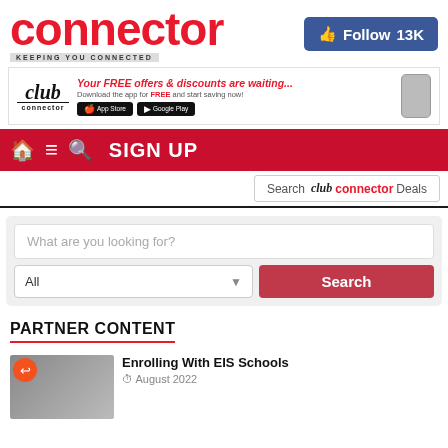connector — KEEPING YOU CONNECTED
[Figure (screenshot): Facebook Follow button with 13K followers]
[Figure (infographic): Club Connector ad banner: Your FREE offers & discounts are waiting... Download the app for FREE and start saving now! App Store and Google Play buttons, phone mockup.]
[Figure (screenshot): Navigation bar with home, menu, search icons and SIGN UP text on red background]
[Figure (screenshot): Search club connector Deals search box]
[Figure (screenshot): What are you looking for? search bar with All dropdown and Search button]
PARTNER CONTENT
Enrolling With EIS Schools
August 2022